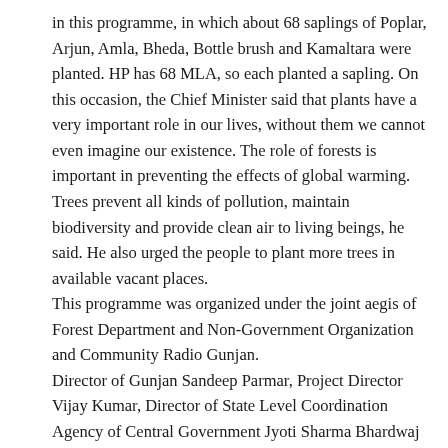in this programme, in which about 68 saplings of Poplar, Arjun, Amla, Bheda, Bottle brush and Kamaltara were planted. HP has 68 MLA, so each planted a sapling. On this occasion, the Chief Minister said that plants have a very important role in our lives, without them we cannot even imagine our existence. The role of forests is important in preventing the effects of global warming. Trees prevent all kinds of pollution, maintain biodiversity and provide clean air to living beings, he said. He also urged the people to plant more trees in available vacant places.
This programme was organized under the joint aegis of Forest Department and Non-Government Organization and Community Radio Gunjan.
Director of Gunjan Sandeep Parmar, Project Director Vijay Kumar, Director of State Level Coordination Agency of Central Government Jyoti Sharma Bhardwaj and other senior officers were also present on this occasion.
All MLAs had a group photograph after the programme.